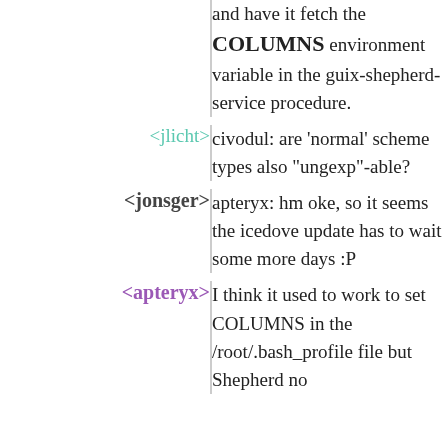and have it fetch the COLUMNS environment variable in the guix-shepherd-service procedure.
<jlicht> civodul: are 'normal' scheme types also "ungexp"-able?
<jonsger> apteryx: hm oke, so it seems the icedove update has to wait some more days :P
<apteryx> I think it used to work to set COLUMNS in the /root/.bash_profile file but Shepherd no